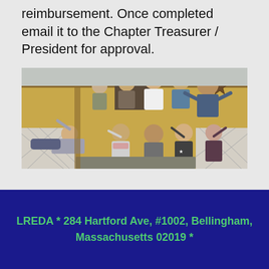reimbursement. Once completed email it to the Chapter Treasurer / President for approval.
[Figure (photo): Group photo of approximately 10 people posing playfully on a wooden porch/deck of a building. Some people are in the back row standing, others are seated or lounging in front. They appear to be laughing and making fun poses.]
LREDA  *  284 Hartford Ave, #1002, Bellingham, Massachusetts 02019  *